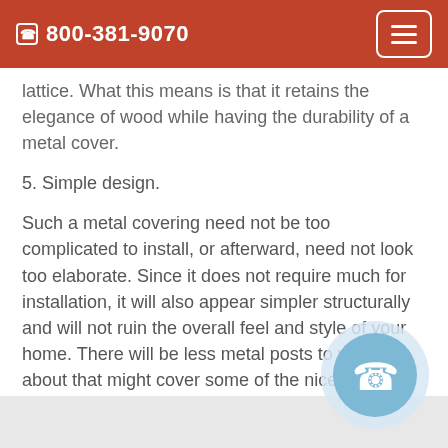800-381-9070
lattice. What this means is that it retains the elegance of wood while having the durability of a metal cover.
5. Simple design.
Such a metal covering need not be too complicated to install, or afterward, need not look too elaborate. Since it does not require much for installation, it will also appear simpler structurally and will not ruin the overall feel and style of your home. There will be less metal posts to worry about that might cover some of the nice features of your place.
[Figure (illustration): Blue phone/call button circle icon in bottom right corner]